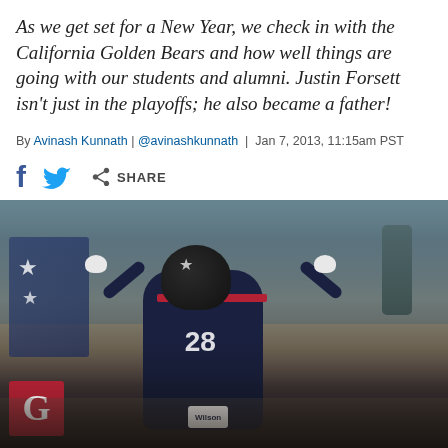As we get set for a New Year, we check in with the California Golden Bears and how well things are going with our students and alumni. Justin Forsett isn't just in the playoffs; he also became a father!
By Avinash Kunnath | @avinashkunnath | Jan 7, 2013, 11:15am PST
[Figure (other): Social sharing icons bar showing Facebook (f), Twitter (bird), and a share icon with the word SHARE]
[Figure (photo): A Houston Texans football player wearing jersey number 28 (Justin Forsett) with arms raised holding helmet on field, celebrating. Dark navy jersey with red accents, white gloves. Background shows stadium crowd and signage.]